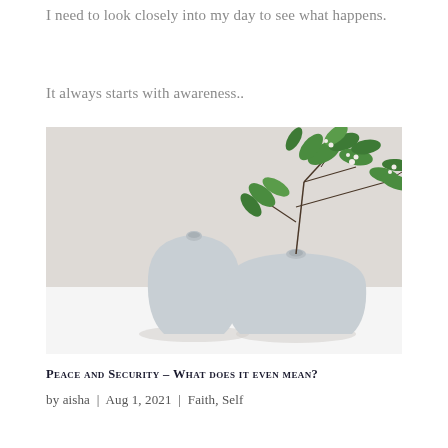I need to look closely into my day to see what happens.
It always starts with awareness..
[Figure (photo): Two small white/light grey ceramic vases on a white surface against a light grey background. The right vase contains green leafy branches with small white flowers. Minimalist aesthetic photograph.]
Peace and Security – What does it even mean?
by aisha | Aug 1, 2021 | Faith, Self